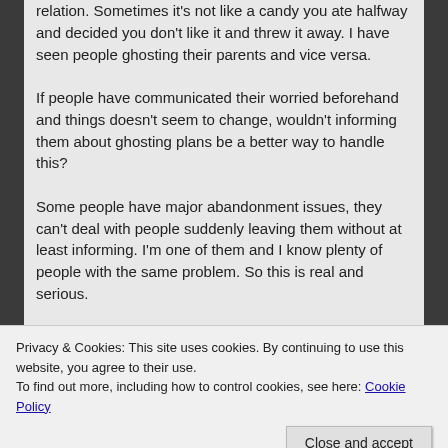relation. Sometimes it's not like a candy you ate halfway and decided you don't like it and threw it away. I have seen people ghosting their parents and vice versa.
If people have communicated their worried beforehand and things doesn't seem to change, wouldn't informing them about ghosting plans be a better way to handle this?
Some people have major abandonment issues, they can't deal with people suddenly leaving them without at least informing. I'm one of them and I know plenty of people with the same problem. So this is real and serious.
People have landed in hospitals when they were suddenly abandoned.
I have seen someone end up in ICU after a
Privacy & Cookies: This site uses cookies. By continuing to use this website, you agree to their use.
To find out more, including how to control cookies, see here: Cookie Policy
end. I think it won't be 100% ghosting for the